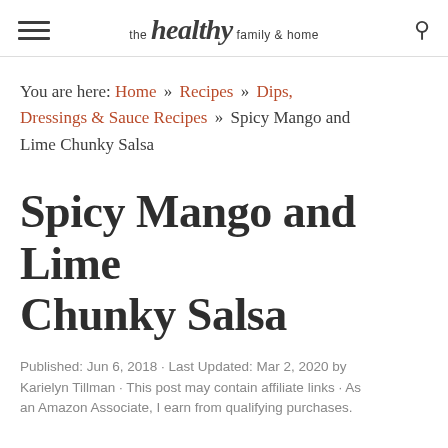the healthy family & home
You are here: Home » Recipes » Dips, Dressings & Sauce Recipes » Spicy Mango and Lime Chunky Salsa
Spicy Mango and Lime Chunky Salsa
Published: Jun 6, 2018 · Last Updated: Mar 2, 2020 by Karielyn Tillman · This post may contain affiliate links · As an Amazon Associate, I earn from qualifying purchases.